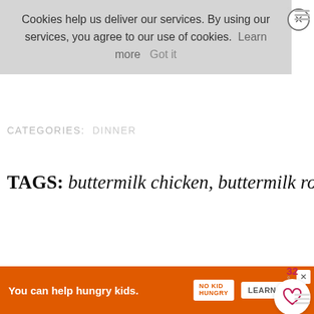Cookies help us deliver our services. By using our services, you agree to our use of cookies. Learn more  Got it
CATEGORIES:  DINNER
TAGS: buttermilk chicken, buttermilk roast chicken, roast chicken, sunday roast
[Figure (infographic): Social sharing sidebar with like count 32, heart button, filled blue heart button, save button with count 38 on purple background, and share button]
« Prawn Ghee Roast
WHAT'S NEXT → Greek Roast Chicken
[Figure (photo): Circular thumbnail of Greek Roast Chicken dish]
You can help hungry kids.  NO KID HUNGRY  LEARN HOW